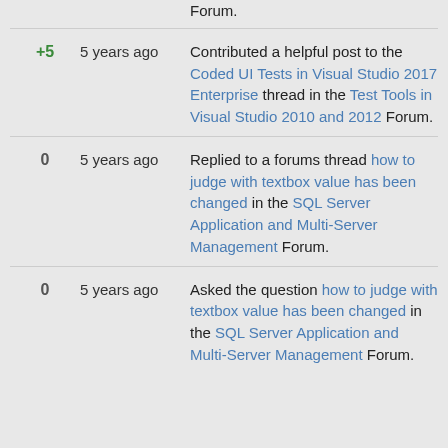Forum.
+5  5 years ago  Contributed a helpful post to the Coded UI Tests in Visual Studio 2017 Enterprise thread in the Test Tools in Visual Studio 2010 and 2012 Forum.
0  5 years ago  Replied to a forums thread how to judge with textbox value has been changed in the SQL Server Application and Multi-Server Management Forum.
0  5 years ago  Asked the question how to judge with textbox value has been changed in the SQL Server Application and Multi-Server Management Forum.